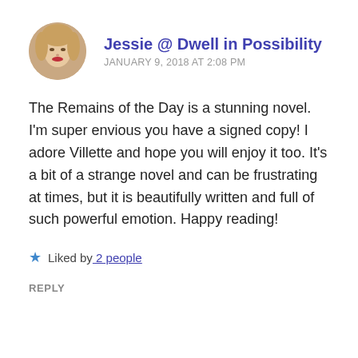[Figure (photo): Circular avatar photo of a young woman with blonde hair and red lips]
Jessie @ Dwell in Possibility
JANUARY 9, 2018 AT 2:08 PM
The Remains of the Day is a stunning novel. I'm super envious you have a signed copy! I adore Villette and hope you will enjoy it too. It's a bit of a strange novel and can be frustrating at times, but it is beautifully written and full of such powerful emotion. Happy reading!
Liked by 2 people
REPLY